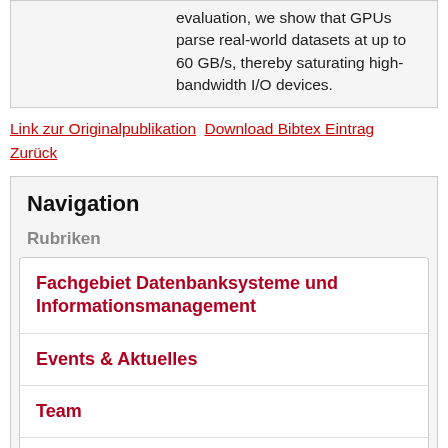evaluation, we show that GPUs parse real-world datasets at up to 60 GB/s, thereby saturating high-bandwidth I/O devices.
Link zur Originalpublikation   Download Bibtex Eintrag
Zurück
Navigation
Rubriken
Fachgebiet Datenbanksysteme und Informationsmanagement
Events & Aktuelles
Team
Forschung
Publikatio…